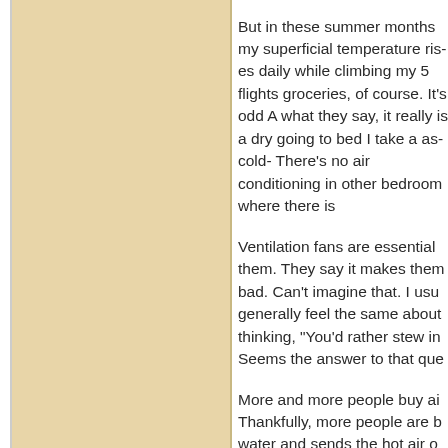But in these summer months my superficial temperature rises daily while climbing my 5 flights groceries, of course. It's odd A what they say, it really is a dry going to bed I take a as-cold- There's no air conditioning in other bedroom where there is
Ventilation fans are essential them. They say it makes them bad. Can't imagine that. I usu generally feel the same about thinking, "You'd rather stew in Seems the answer to that que
More and more people buy ai Thankfully, more people are b water and sends the hot air o something like that. They're o conditioners and are much be consume.
Bars and some smaller restau instead of something like A/C